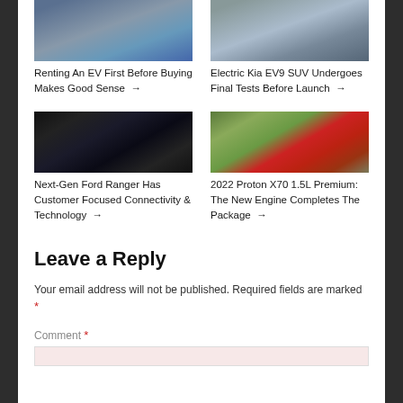[Figure (photo): Car image placeholder - EV vehicle top]
[Figure (photo): Car image placeholder - Kia EV9]
Renting An EV First Before Buying Makes Good Sense →
Electric Kia EV9 SUV Undergoes Final Tests Before Launch →
[Figure (photo): Next-Gen Ford Ranger interior with large touchscreen]
[Figure (photo): 2022 Proton X70 red SUV]
Next-Gen Ford Ranger Has Customer Focused Connectivity & Technology →
2022 Proton X70 1.5L Premium: The New Engine Completes The Package →
Leave a Reply
Your email address will not be published. Required fields are marked *
Comment *